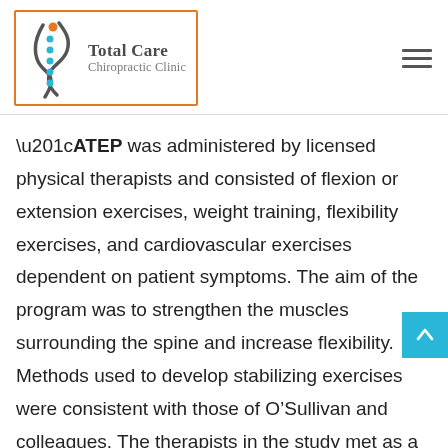[Figure (logo): Total Care Chiropractic Clinic logo with orange-bordered box, stylized spine graphic with teal dots and orange dot, and text 'Total Care Chiropractic Clinic']
“ATEP was administered by licensed physical therapists and consisted of flexion or extension exercises, weight training, flexibility exercises, and cardiovascular exercises dependent on patient symptoms. The aim of the program was to strengthen the muscles surrounding the spine and increase flexibility. Methods used to develop stabilizing exercises were consistent with those of O’Sullivan and colleagues. The therapists in the study met as a group to choose the specific exercise regime for study purposes and met monthly to reinforce treatment consistency. Biomechanically, the ATEP did not concentrate on a specific joint level